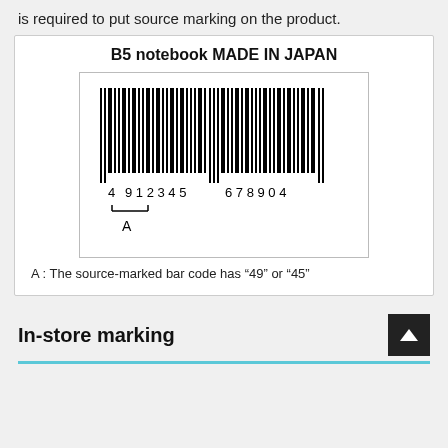is required to put source marking on the product.
[Figure (illustration): Barcode illustration for B5 notebook MADE IN JAPAN showing a JAN barcode with digits 4 912345 678904, with bracket labeled A indicating the source-marked portion showing '49']
A : The source-marked bar code has “49” or “45”
In-store marking